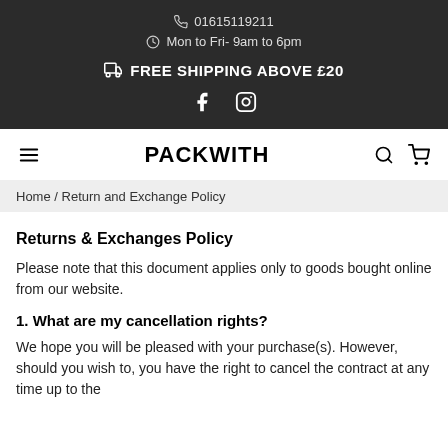01615119211 | Mon to Fri- 9am to 6pm | FREE SHIPPING ABOVE £20
PACKWITH
Home / Return and Exchange Policy
Returns & Exchanges Policy
Please note that this document applies only to goods bought online from our website.
1. What are my cancellation rights?
We hope you will be pleased with your purchase(s). However, should you wish to, you have the right to cancel the contract at any time up to the